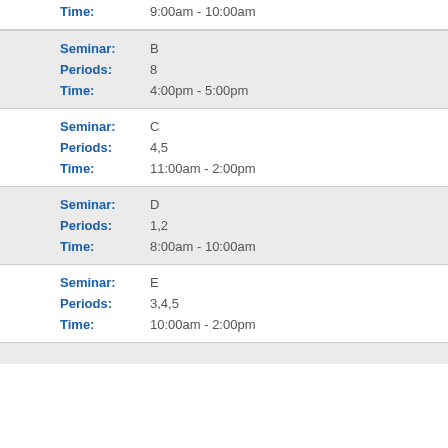Time: 9:00am - 10:00am
| Seminar: | B |
| Periods: | 8 |
| Time: | 4:00pm - 5:00pm |
| Seminar: | C |
| Periods: | 4,5 |
| Time: | 11:00am - 2:00pm |
| Seminar: | D |
| Periods: | 1,2 |
| Time: | 8:00am - 10:00am |
| Seminar: | E |
| Periods: | 3,4,5 |
| Time: | 10:00am - 2:00pm |